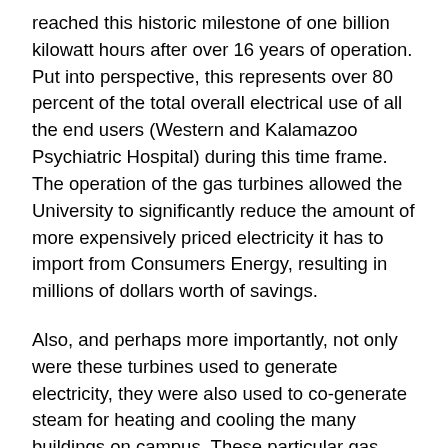reached this historic milestone of one billion kilowatt hours after over 16 years of operation. Put into perspective, this represents over 80 percent of the total overall electrical use of all the end users (Western and Kalamazoo Psychiatric Hospital) during this time frame. The operation of the gas turbines allowed the University to significantly reduce the amount of more expensively priced electricity it has to import from Consumers Energy, resulting in millions of dollars worth of savings.
Also, and perhaps more importantly, not only were these turbines used to generate electricity, they were also used to co-generate steam for heating and cooling the many buildings on campus. These particular gas turbines are literally “jet engines” that generate a lot of heat in the process of combustion to initially produce electricity. For example, the jet streams you see looking at up in the sky are the same hot exhaust gases condensing in the cold upper atmosphere. Here in the power plant, the 1,000 degree Fahrenheit exhaust gases from the turbines is...